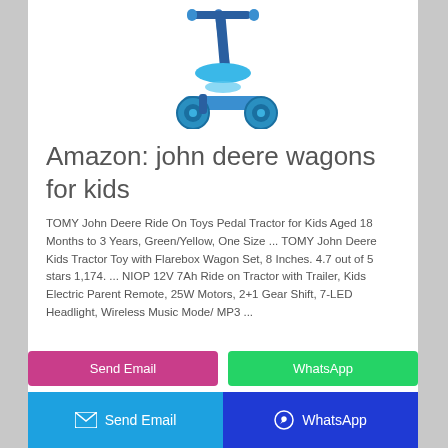[Figure (photo): A blue children's kick scooter with three wheels and a seat/footboard, shown on a white background.]
Amazon: john deere wagons for kids
TOMY John Deere Ride On Toys Pedal Tractor for Kids Aged 18 Months to 3 Years, Green/Yellow, One Size ... TOMY John Deere Kids Tractor Toy with Flarebox Wagon Set, 8 Inches. 4.7 out of 5 stars 1,174. ... NIOP 12V 7Ah Ride on Tractor with Trailer, Kids Electric Parent Remote, 25W Motors, 2+1 Gear Shift, 7-LED Headlight, Wireless Music Mode/ MP3 ...
Send Email | WhatsApp